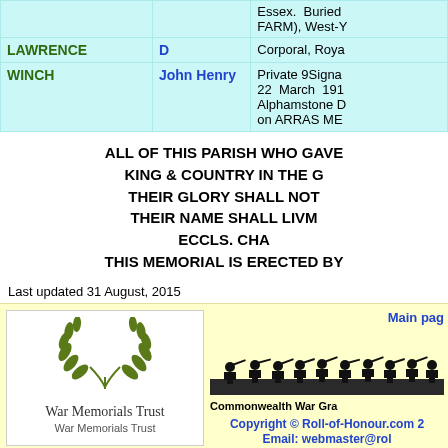| Surname | First Name | Details |
| --- | --- | --- |
|  |  | Essex. Buried FARM), West-Y |
| LAWRENCE | D | Corporal, Roya |
| WINCH | John Henry | Private 9Signa 22 March 191 Alphamstone D on ARRAS ME |
ALL OF THIS PARISH WHO GAVE KING & COUNTRY IN THE G THEIR GLORY SHALL NOT THEIR NAME SHALL LIVM ECCLS. CHA THIS MEMORIAL IS ERECTED BY
Last updated 31 August, 2015
[Figure (logo): War Memorials Trust logo with olive branch wreath]
War Memorials Trust
War Memorials Trust
Main page
[Figure (photo): Silhouette of WWI soldiers marching]
Commonwealth War Gra
Copyright © Roll-of-Honour.com 2 Email: webmaster@rol